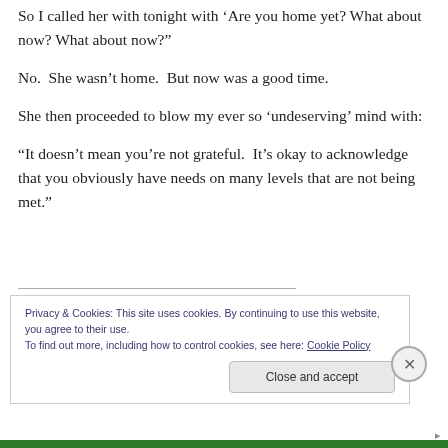So I called her with tonight with ‘Are you home yet? What about now? What about now?”
No.  She wasn’t home.  But now was a good time.
She then proceeded to blow my ever so ‘undeserving’ mind with:
“It doesn’t mean you’re not grateful.  It’s okay to acknowledge that you obviously have needs on many levels that are not being met.”
Privacy & Cookies: This site uses cookies. By continuing to use this website, you agree to their use.
To find out more, including how to control cookies, see here: Cookie Policy
Close and accept